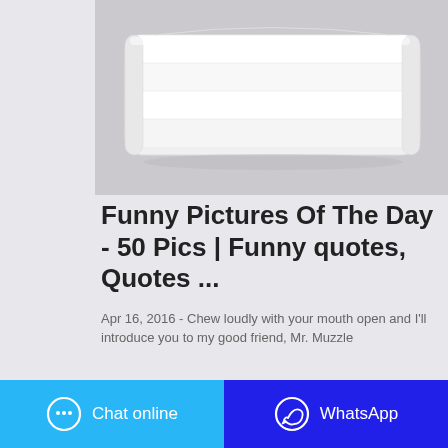[Figure (photo): A white pillow or folded fabric/bedding product photographed on a light gray/white background. The item appears to be a rectangular, puffed white pillow with segmented sections.]
Funny Pictures Of The Day - 50 Pics | Funny quotes, Quotes ...
Apr 16, 2016 - Chew loudly with your mouth open and I'll introduce you to my good friend, Mr. Muzzle
Chat online   WhatsApp